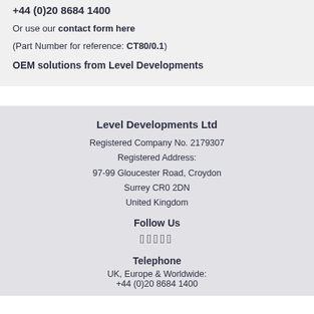+44 (0)20 8684 1400
Or use our contact form here
(Part Number for reference: CT80/0.1)
OEM solutions from Level Developments
Level Developments Ltd
Registered Company No. 2179307
Registered Address:
97-99 Gloucester Road, Croydon
Surrey CR0 2DN
United Kingdom
Follow Us
Telephone
UK, Europe & Worldwide:
+44 (0)20 8684 1400